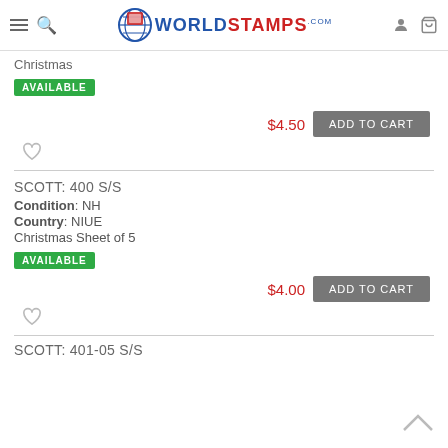WorldStamps.com
Christmas
AVAILABLE
$4.50  ADD TO CART
SCOTT: 400 S/S
Condition: NH
Country: NIUE
Christmas Sheet of 5
AVAILABLE
$4.00  ADD TO CART
SCOTT: 401-05 S/S